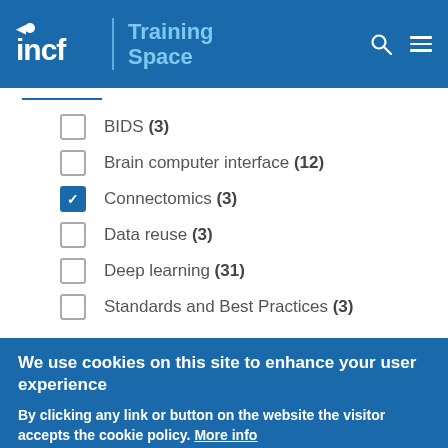INCF Training Space
BIDS (3)
Brain computer interface (12)
Connectomics (3) [checked]
Data reuse (3)
Deep learning (31)
Standards and Best Practices (3)
We use cookies on this site to enhance your user experience
By clicking any link or button on the website the visitor accepts the cookie policy. More info
Accept  No, thanks